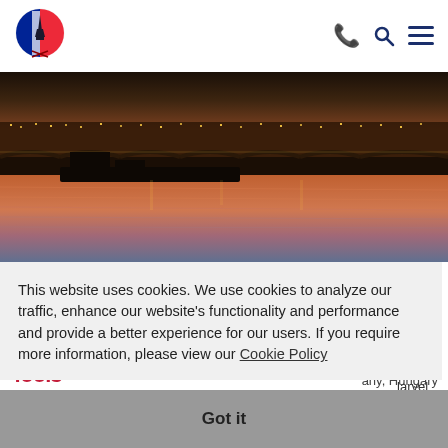[Figure (logo): French-themed logo with Eiffel Tower silhouette and French flag colors (blue, white, red), with crossed swords beneath]
[Figure (photo): Night cityscape photo showing a bridge over a river with city lights reflecting on the water, warm orange and purple tones]
This website uses cookies. We use cookies to analyze our traffic, enhance our website's functionality and performance and provide a better experience for our users. If you require more information, please view our Cookie Policy
Got it